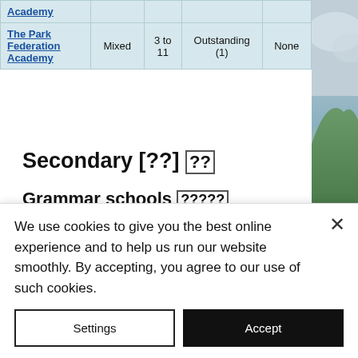| School | Type | Age range | Ofsted rating | Grammar stream |
| --- | --- | --- | --- | --- |
| Academy |  |  |  |  |
| The Park Federation Academy | Mixed | 3 to 11 | Outstanding (1) | None |
Secondary [??]
Grammar schools [?????]
Grammar schools are more ...
We use cookies to give you the best online experience and to help us run our website smoothly. By accepting, you agree to our use of such cookies.